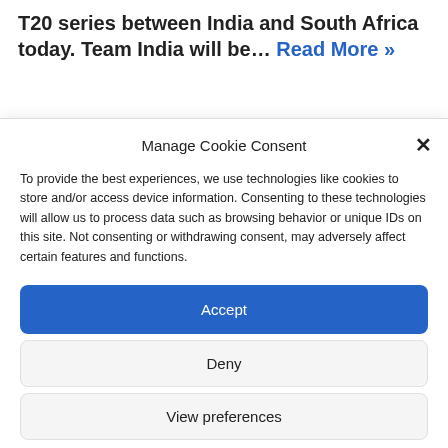T20 series between India and South Africa today. Team India will be… Read More »
Manage Cookie Consent
To provide the best experiences, we use technologies like cookies to store and/or access device information. Consenting to these technologies will allow us to process data such as browsing behavior or unique IDs on this site. Not consenting or withdrawing consent, may adversely affect certain features and functions.
Accept
Deny
View preferences
Privacy Policy